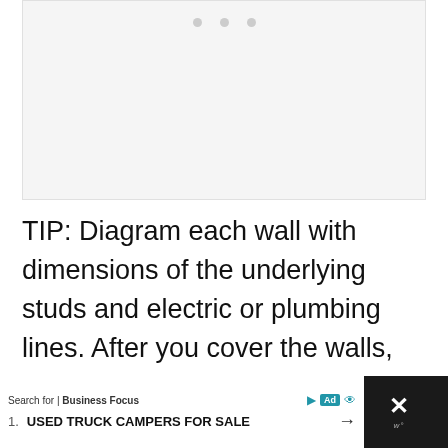[Figure (other): Blank/placeholder image area with three navigation dots at top center]
TIP: Diagram each wall with dimensions of the underlying studs and electric or plumbing lines. After you cover the walls, you'll know exactly where it's safe to secure nails or screws for hanging decor or attaching cabinets later on.
[Figure (screenshot): Advertisement bar: Search for | Business Focus. 1. USED TRUCK CAMPERS FOR SALE with arrow. Dark close button on right.]